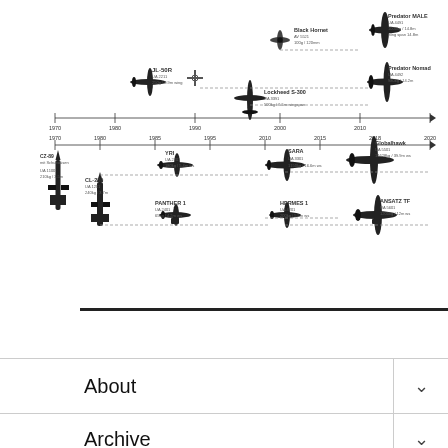[Figure (infographic): Timeline infographic showing evolution of UAV/drone aircraft designs from 1970s through 2020s, with silhouette top-view drawings of various unmanned aerial vehicles including CL-89, JL-50R, Black Hornet, Predator MALE, Lockheed S-300, CL-289, YRI, SARA, Global Hawk, UAS-X, Hermes 1, and other drone models arranged chronologically on a horizontal timeline axis.]
About
Archive